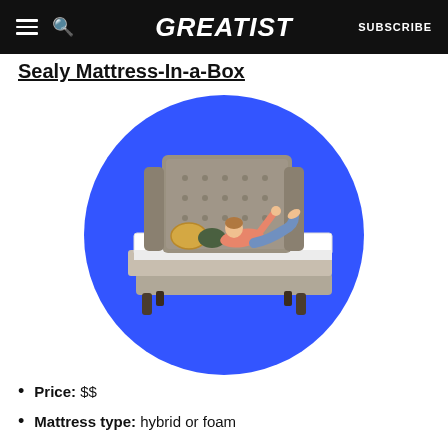GREATIST | SUBSCRIBE
Sealy Mattress-In-a-Box
[Figure (photo): A woman lying on a mattress on a bed frame with a tufted wingback headboard, set against a bright blue circular background. The woman is wearing a pink top and jeans, posing with her legs up.]
Price: $$
Mattress type: hybrid or foam